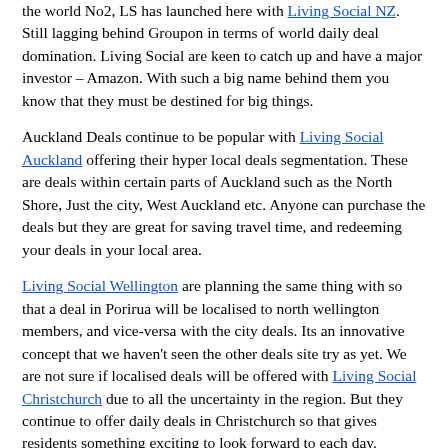the world No2, LS has launched here with Living Social NZ. Still lagging behind Groupon in terms of world daily deal domination. Living Social are keen to catch up and have a major investor – Amazon. With such a big name behind them you know that they must be destined for big things.
Auckland Deals continue to be popular with Living Social Auckland offering their hyper local deals segmentation. These are deals within certain parts of Auckland such as the North Shore, Just the city, West Auckland etc. Anyone can purchase the deals but they are great for saving travel time, and redeeming your deals in your local area.
Living Social Wellington are planning the same thing with so that a deal in Porirua will be localised to north wellington members, and vice-versa with the city deals. Its an innovative concept that we haven't seen the other deals site try as yet. We are not sure if localised deals will be offered with Living Social Christchurch due to all the uncertainty in the region. But they continue to offer daily deals in Christchurch so that gives residents something exciting to look forward to each day.
TreatMe
Launched in 2011 was Treat Me. This local group buying site is